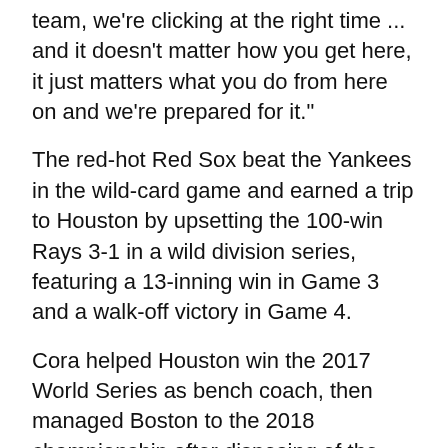team, we're clicking at the right time ... and it doesn't matter how you get here, it just matters what you do from here on and we're prepared for it."
The red-hot Red Sox beat the Yankees in the wild-card game and earned a trip to Houston by upsetting the 100-win Rays 3-1 in a wild division series, featuring a 13-inning win in Game 3 and a walk-off victory in Game 4.
Cora helped Houston win the 2017 World Series as bench coach, then managed Boston to the 2018 championship after disposing of the Astros. He was let go by the Red Sox following Major League Baseball's investigation into Houston's sign-stealing scheme, then suspended by MLB through the 2020 postseason before getting rehired in Boston last November.
Asked about the reception the Astros might get from the crowd when the series shifts to Boston for Game 3 on Monday, Cora admitted that it feels weird when they're heckled since he was involved with the cheating. He